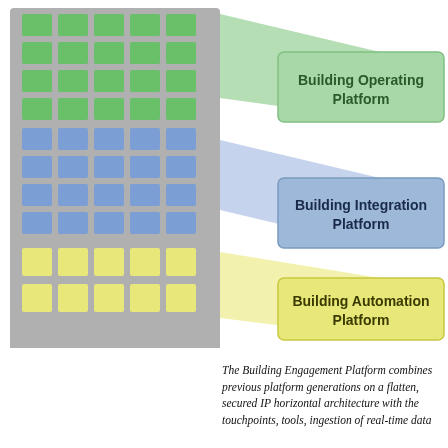[Figure (infographic): Building diagram on the left with green (top floors), blue (middle floors), and yellow (bottom floors) windows, connected via colored funnel/beam shapes to three platform labels on the right: Building Operating Platform (green), Building Integration Platform (blue/purple), Building Automation Platform (yellow).]
The Building Engagement Platform combines previous platform generations on a flatten, secured IP horizontal architecture with the touchpoints, tools, ingestion of real-time data